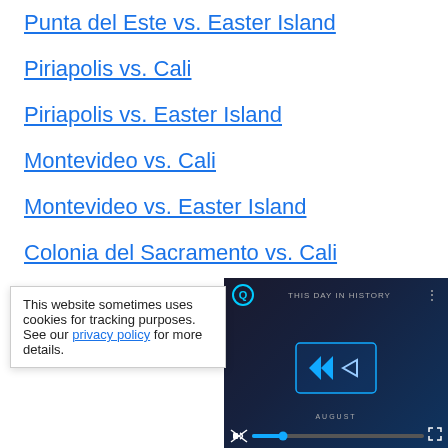Punta del Este vs. Easter Island
Piriapolis vs. Cali
Piriapolis vs. Easter Island
Montevideo vs. Cali
Montevideo vs. Easter Island
Colonia del Sacramento vs. Cali
Colonia del Sacra... (partially obscured)
Sao Paulo vs. Ca... (partially obscured)
This website sometimes uses cookies for tracking purposes. See our privacy policy for more details.
[Figure (screenshot): Video player overlay showing 'This Day in History' with play button, blue chevron arrows, progress bar, mute icon, and fullscreen button]